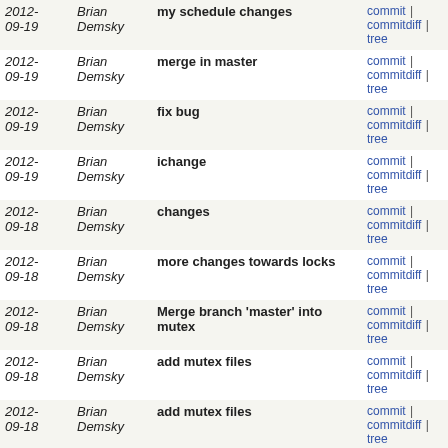| Date | Author | Message | Links |
| --- | --- | --- | --- |
| 2012-09-19 | Brian Demsky | my schedule changes | commit | commitdiff | tree |
| 2012-09-19 | Brian Demsky | merge in master | commit | commitdiff | tree |
| 2012-09-19 | Brian Demsky | fix bug | commit | commitdiff | tree |
| 2012-09-19 | Brian Demsky | ichange | commit | commitdiff | tree |
| 2012-09-18 | Brian Demsky | changes | commit | commitdiff | tree |
| 2012-09-18 | Brian Demsky | more changes towards locks | commit | commitdiff | tree |
| 2012-09-18 | Brian Demsky | Merge branch 'master' into mutex | commit | commitdiff | tree |
| 2012-09-18 | Brian Demsky | add mutex files | commit | commitdiff | tree |
| 2012-09-18 | Brian Demsky | add mutex files | commit | commitdiff | tree |
| 2012-09-18 | Brian Demsky | start towards adding support for mutexes | commit | commitdiff | tree |
| 2012-09-14 | Brian Demsky | tabbing | commit | commitdiff | tree |
| 2012-09-14 | Brian Demsky | (1) add actions for the fence | commit | commitdiff | tree |
| 2012-09-14 | Brian Demsky | add support for dumping cyclegraphs as dot files..... | commit | commitdiff | tree |
| 2012-09-?? | Brian Demsky | lots of debugging here... finally | commit | commitdiff | tree |